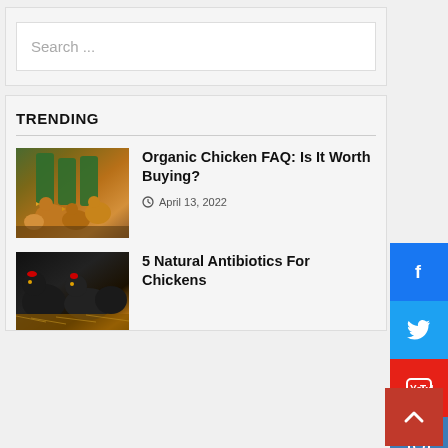Search ...
TRENDING
[Figure (photo): Golden/brown chickens and green boots on dirt ground]
Organic Chicken FAQ: Is It Worth Buying?
April 13, 2022
[Figure (photo): Black chickens on ground with straw/leaves]
5 Natural Antibiotics For Chickens